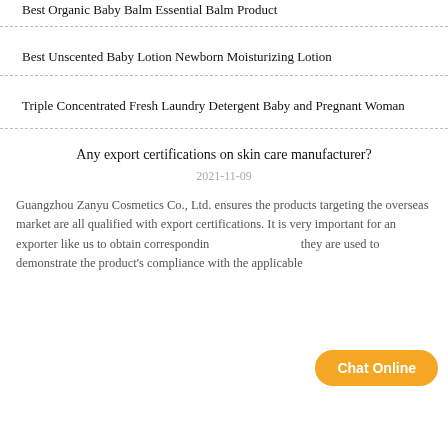Best Organic Baby Balm Essential Balm Product
Best Unscented Baby Lotion Newborn Moisturizing Lotion
Triple Concentrated Fresh Laundry Detergent Baby and Pregnant Woman
Any export certifications on skin care manufacturer?
2021-11-09
Guangzhou Zanyu Cosmetics Co., Ltd. ensures the products targeting the overseas market are all qualified with export certifications. It is very important for an exporter like us to obtain corresponding certifications as they are used to demonstrate the product's compliance with the applicable